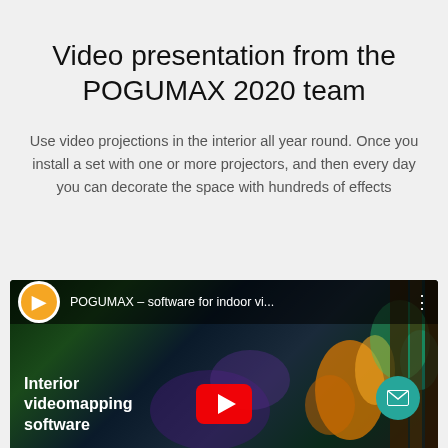Video presentation from the POGUMAX 2020 team
Use video projections in the interior all year round. Once you install a set with one or more projectors, and then every day you can decorate the space with hundreds of effects
[Figure (screenshot): YouTube video thumbnail showing POGUMAX software for indoor video mapping, with channel logo (orange P icon), video title 'POGUMAX – software for indoor vi...', bold white text 'Interior videomapping software', a YouTube play button, and a teal email FAB button in the bottom right corner. Background shows colorful indoor projection visuals.]